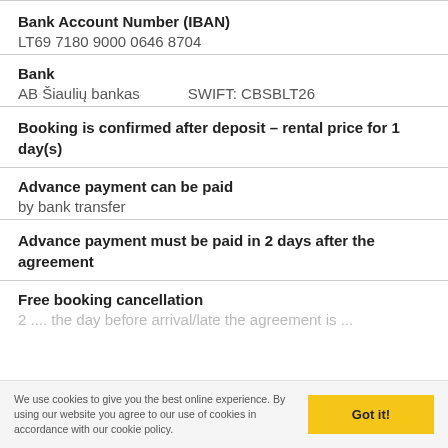Bank Account Number (IBAN)
LT69 7180 9000 0646 8704
Bank
AB Šiaulių bankas      SWIFT: CBSBLT26
Booking is confirmed after deposit – rental price for 1 day(s)
Advance payment can be paid
by bank transfer
Advance payment must be paid in 2 days after the agreement
Free booking cancellation
2 ... the day before arrival/late the agreement is ...
We use cookies to give you the best online experience. By using our website you agree to our use of cookies in accordance with our cookie policy.